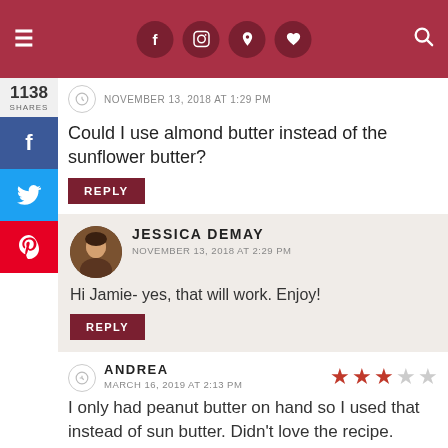Navigation header with hamburger menu, social icons (facebook, instagram, pinterest, heart), search icon
NOVEMBER 13, 2018 AT 1:29 PM
Could I use almond butter instead of the sunflower butter?
REPLY
JESSICA DEMAY
NOVEMBER 13, 2018 AT 2:29 PM
Hi Jamie- yes, that will work. Enjoy!
REPLY
ANDREA
MARCH 16, 2019 AT 2:13 PM
I only had peanut butter on hand so I used that instead of sun butter. Didn't love the recipe. Came out really dense and wet despite baking for the full 27 minutes. Also, it tastes heavily of pumpkin purée. Not much pumpkin spice